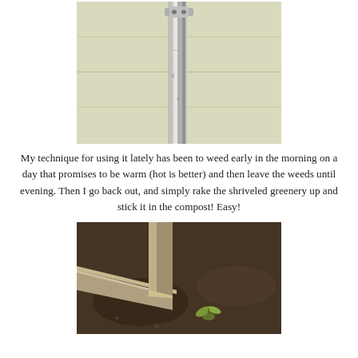[Figure (photo): Close-up photo of a metal conduit/pole mounted against a light yellow/cream painted wall siding, with a bracket and screws visible at the top]
My technique for using it lately has been to weed early in the morning on a day that promises to be warm (hot is better) and then leave the weeds until evening. Then I go back out, and simply rake the shriveled greenery up and stick it in the compost! Easy!
[Figure (photo): Close-up photo of a raised garden bed corner made of wood planks, with dark soil inside and a small green plant/seedling visible]